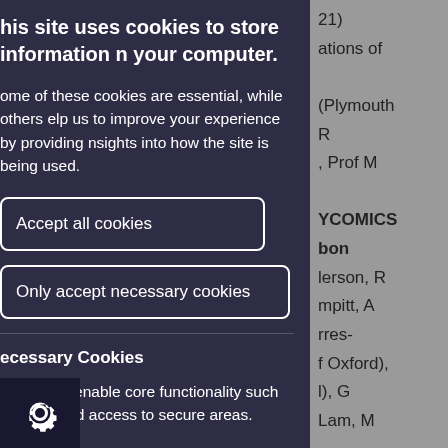This site uses cookies to store information on your computer.
Some of these cookies are essential, while others help us to improve your experience by providing insights into how the site is being used.
Accept all cookies
Only accept necessary cookies
Necessary Cookies
Necessary cookies enable core functionality such as navigation and access to secure areas.
21) ations of (Plymouth R , Prof M YCOMICS bon lerson, R mpitt, A rres- f Oxford), l), G Lam, M ) (2016- y and